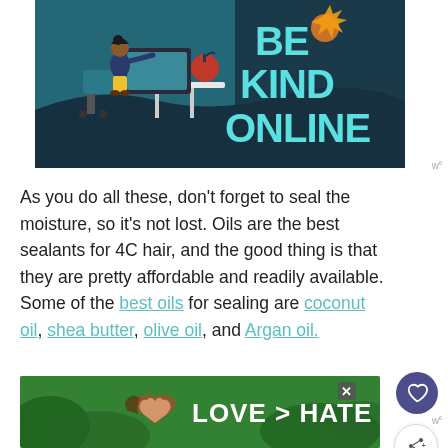[Figure (illustration): Illustration of a person sitting at a desk with text 'BE KIND ONLINE' on a dark teal background]
As you do all these, don't forget to seal the moisture, so it's not lost. Oils are the best sealants for 4C hair, and the good thing is that they are pretty affordable and readily available. Some of the best oils for sealing are coconut oil, shea butter, olive oil, and Argan oil.
[Figure (illustration): Advertisement banner with two hands making a heart shape and text 'LOVE > HATE']